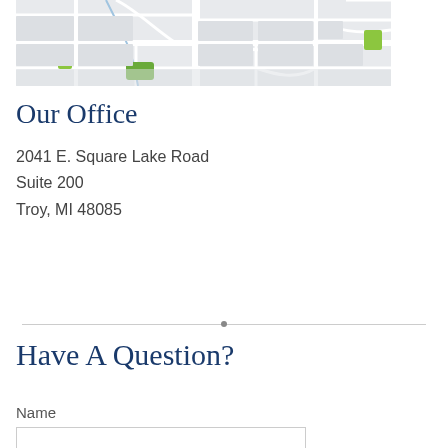[Figure (map): Street map showing a neighborhood grid with roads, green spaces, and building outlines in a light gray color scheme.]
Our Office
2041 E. Square Lake Road
Suite 200
Troy, MI 48085
Have A Question?
Name